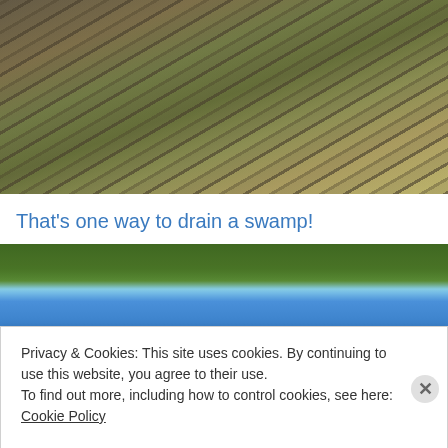[Figure (photo): Aerial or steep-angle photo of a rocky cliff face with diagonal rock strata layers, dry grass, and shrubs/trees growing on a hillside]
That's one way to drain a swamp!
[Figure (photo): Photo of green shrubs and trees against a bright blue sky, partially obscured by a cookie consent banner]
Privacy & Cookies: This site uses cookies. By continuing to use this website, you agree to their use.
To find out more, including how to control cookies, see here: Cookie Policy
Close and accept